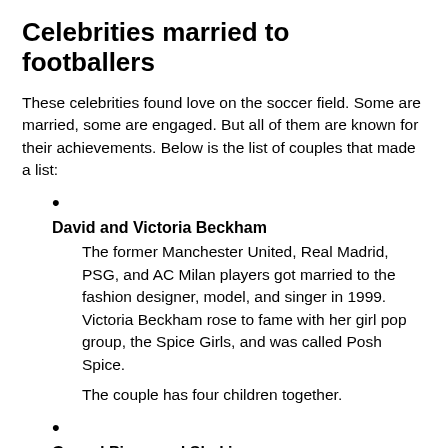Celebrities married to footballers
These celebrities found love on the soccer field. Some are married, some are engaged. But all of them are known for their achievements. Below is the list of couples that made a list:
David and Victoria Beckham – The former Manchester United, Real Madrid, PSG, and AC Milan players got married to the fashion designer, model, and singer in 1999. Victoria Beckham rose to fame with her girl pop group, the Spice Girls, and was called Posh Spice. The couple has four children together.
Gerard Pique and Shakira – Pique is a Spanish professional footballer who plays for FC Barcelona and the Spanish national team. He is in a committed